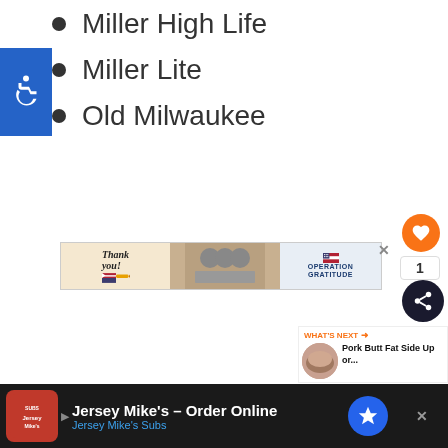Miller High Life
Miller Lite
Old Milwaukee
[Figure (infographic): Blue accessibility wheelchair icon badge on left side]
[Figure (infographic): Thank You / Operation Gratitude advertisement banner]
[Figure (infographic): Heart/like button, share button, and count floating on right side]
[Figure (infographic): What's Next thumbnail: Pork Butt Fat Side Up or...]
[Figure (infographic): Jersey Mike's Order Online bottom advertisement bar]